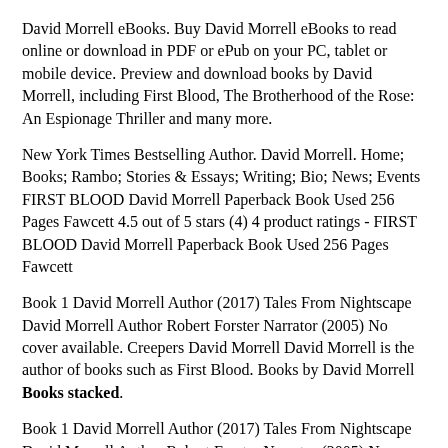David Morrell eBooks. Buy David Morrell eBooks to read online or download in PDF or ePub on your PC, tablet or mobile device. Preview and download books by David Morrell, including First Blood, The Brotherhood of the Rose: An Espionage Thriller and many more.
New York Times Bestselling Author. David Morrell. Home; Books; Rambo; Stories & Essays; Writing; Bio; News; Events FIRST BLOOD David Morrell Paperback Book Used 256 Pages Fawcett 4.5 out of 5 stars (4) 4 product ratings - FIRST BLOOD David Morrell Paperback Book Used 256 Pages Fawcett
Book 1 David Morrell Author (2017) Tales From Nightscape David Morrell Author Robert Forster Narrator (2005) No cover available. Creepers David Morrell David Morrell is the author of books such as First Blood. Books by David Morrell Books stacked.
Book 1 David Morrell Author (2017) Tales From Nightscape David Morrell Author Robert Forster Narrator (2005) No cover available. Creepers
Story of sleepy hollow
incomplete/cut off text at bottom